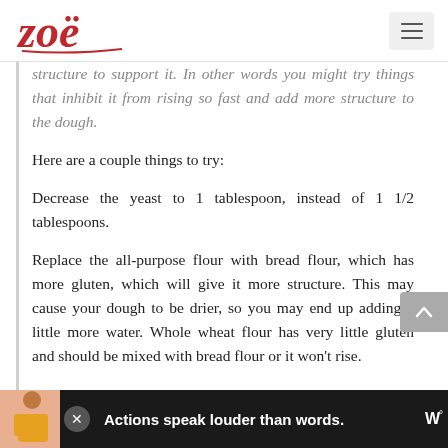Zoë [logo] with hamburger menu button
structure to support it. In other words you might try things that inhibit it from rising so fast and add more structure to the dough.
Here are a couple things to try:
Decrease the yeast to 1 tablespoon, instead of 1 1/2 tablespoons.
Replace the all-purpose flour with bread flour, which has more gluten, which will give it more structure. This may cause your dough to be drier, so you may end up adding a little more water. Whole wheat flour has very little gluten and should be mixed with bread flour or it won't rise.
[Figure (other): Advertisement banner at bottom: dark background with person figure, text 'Actions speak louder than words.' in white bold text, close button, and logos on right side]